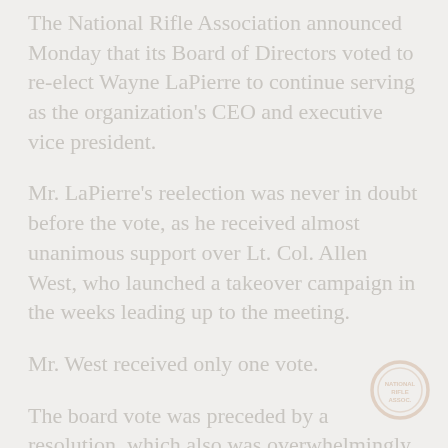The National Rifle Association announced Monday that its Board of Directors voted to reelect Wayne LaPierre to continue serving as the organization's CEO and executive vice president.
Mr. LaPierre's reelection was never in doubt before the vote, as he received almost unanimous support over Lt. Col. Allen West, who launched a takeover campaign in the weeks leading up to the meeting.
Mr. West received only one vote.
The board vote was preceded by a resolution, which also was overwhelmingly passed by